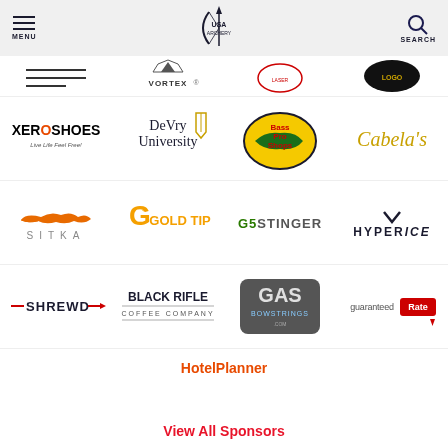MENU | USA Archery | SEARCH
[Figure (logo): Partial sponsor logos row: cropped logos including Vortex and others]
[Figure (logo): Sponsor logos row: Xero Shoes, DeVry University, Bass Pro Shops, Cabela's]
[Figure (logo): Sponsor logos row: Sitka, Gold Tip, G5 Stinger, Hyperice]
[Figure (logo): Sponsor logos row: Shrewd, Black Rifle Coffee Company, GAS Bowstrings, Guaranteed Rate]
[Figure (logo): HotelPlanner logo]
View All Sponsors